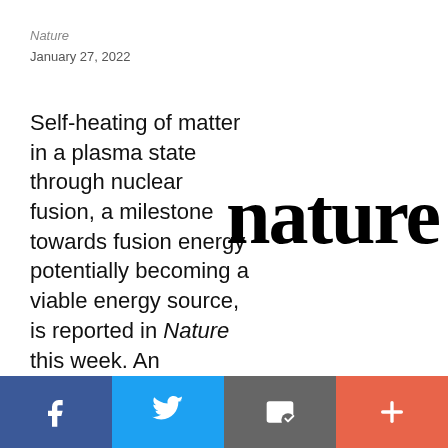Nature
January 27, 2022
Self-heating of matter in a plasma state through nuclear fusion, a milestone towards fusion energy potentially becoming a viable energy source, is reported in Nature this week. An accompanying paper in Nature Physics describes the optimization of the experimental design that allowed such an achievement.
[Figure (logo): Nature journal logo in large bold serif font]
Social share bar: Facebook, Twitter, Email, More